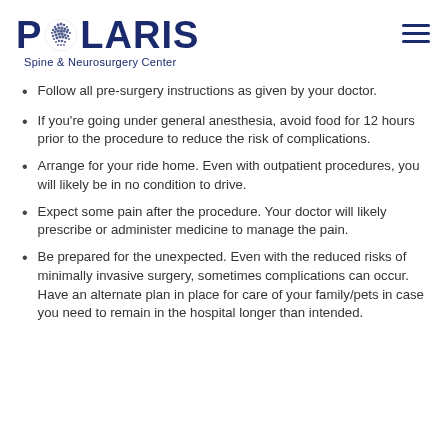POLARIS Spine & Neurosurgery Center
Follow all pre-surgery instructions as given by your doctor.
If you're going under general anesthesia, avoid food for 12 hours prior to the procedure to reduce the risk of complications.
Arrange for your ride home. Even with outpatient procedures, you will likely be in no condition to drive.
Expect some pain after the procedure. Your doctor will likely prescribe or administer medicine to manage the pain.
Be prepared for the unexpected. Even with the reduced risks of minimally invasive surgery, sometimes complications can occur. Have an alternate plan in place for care of your family/pets in case you need to remain in the hospital longer than intended.